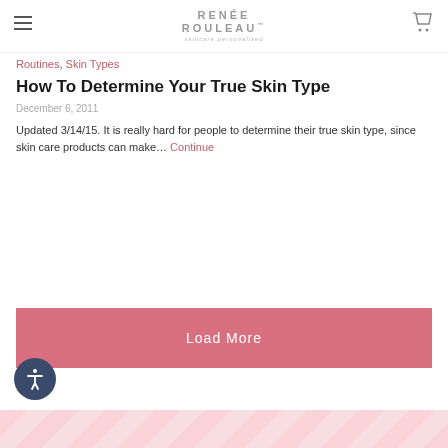RENÉE ROULEAU™ skincare personalized
Routines, Skin Types
How To Determine Your True Skin Type
December 6, 2011
Updated 3/14/15. It is really hard for people to determine their true skin type, since skin care products can make… Continue
Load More